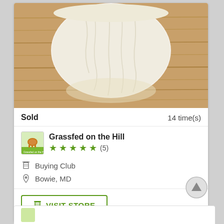[Figure (photo): Close-up photo of a white soft cheese (brie or camembert style) on a wooden surface]
Sold 14 time(s)
Grassfed on the Hill ★★★★★ (5)
Buying Club
Bowie, MD
VISIT STORE